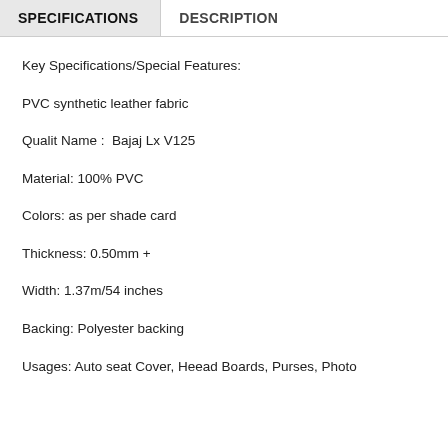SPECIFICATIONS
DESCRIPTION
Key Specifications/Special Features:
PVC synthetic leather fabric
Qualit Name :  Bajaj Lx V125
Material: 100% PVC
Colors: as per shade card
Thickness: 0.50mm +
Width: 1.37m/54 inches
Backing: Polyester backing
Usages: Auto seat Cover, Heead Boards, Purses, Photo